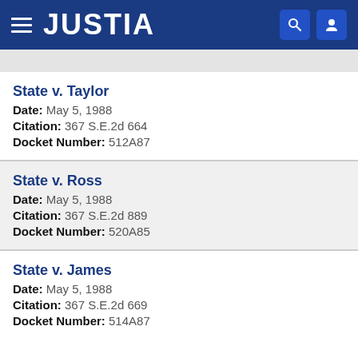JUSTIA
State v. Taylor
Date: May 5, 1988
Citation: 367 S.E.2d 664
Docket Number: 512A87
State v. Ross
Date: May 5, 1988
Citation: 367 S.E.2d 889
Docket Number: 520A85
State v. James
Date: May 5, 1988
Citation: 367 S.E.2d 669
Docket Number: 514A87